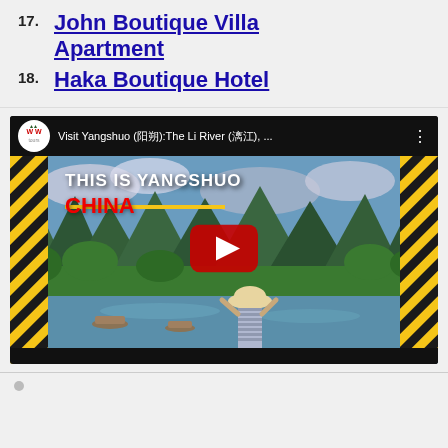17. John Boutique Villa Apartment
18. Haka Boutique Hotel
[Figure (screenshot): YouTube video thumbnail: 'Visit Yangshuo (阳朔): The Li River (漓江), ...' showing a woman in a hat looking at a scenic river and karst mountains landscape in Yangshuo, China, with a YouTube play button overlay. The video is from WW Tours channel.]